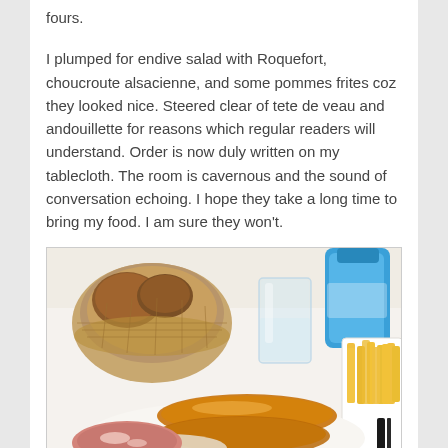fours.
I plumped for endive salad with Roquefort, choucroute alsacienne, and some pommes frites coz they looked nice. Steered clear of tete de veau and andouillette for reasons which regular readers will understand. Order is now duly written on my tablecloth. The room is cavernous and the sound of conversation echoing. I hope they take a long time to bring my food. I am sure they won't.
[Figure (photo): Restaurant table scene showing a bread basket, a glass of water, a blue water bottle, a plate of French fries, sausages (choucroute alsacienne), and cured meat on a white tablecloth.]